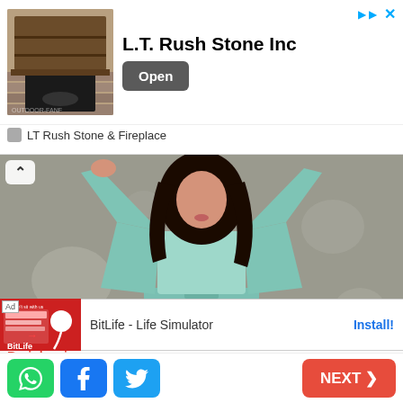[Figure (other): Advertisement banner for L.T. Rush Stone Inc with stone fireplace image, company name, and Open button]
LT Rush Stone & Fireplace
[Figure (photo): Young woman wearing a mint/turquoise coordinated outfit (jacket, top, and pants) posing against a gray concrete wall]
Brainberries
From A Minor Character To One Of The Most Tragic Players
[Figure (other): BitLife - Life Simulator app advertisement with colorful game screenshot thumbnail, app name, and Install button]
[Figure (other): Bottom social sharing bar with WhatsApp, Facebook, Twitter buttons and NEXT navigation button]